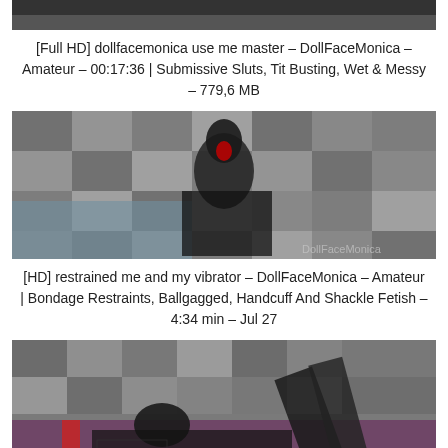[Figure (photo): Partial thumbnail image cropped at top of page, dark toned with watermark 'DollFaceMonica']
[Full HD] dollfacemonica use me master – DollFaceMonica – Amateur – 00:17:36 | Submissive Sluts, Tit Busting, Wet & Messy – 779,6 MB
[Figure (photo): Thumbnail of a woman in black clothing with dark hair against a patterned background, watermark 'DollFaceMonica']
[HD] restrained me and my vibrator – DollFaceMonica – Amateur | Bondage Restraints, Ballgagged, Handcuff And Shackle Fetish – 4:34 min – Jul 27
[Figure (photo): Thumbnail of a woman lying down against patterned background, wearing fishnet stockings]
[HD] long legs tease in transparent panty – DollFaceMonica – Amateur | Stocking Legs Fetish – 6:07...